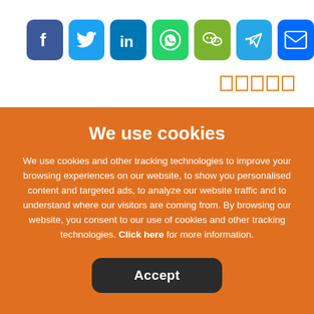[Figure (other): Row of seven social media share icons: Facebook (blue), Twitter (light blue), LinkedIn (dark blue), WhatsApp (green), WeChat (green), Telegram (blue), Email (blue)]
[Figure (other): Five orange outlined rating boxes]
Whether you’re planning to hire a venue or party in the office, here are six simple steps to throw a holiday
We use cookies
We use cookies and other tracking technologies to improve your browsing experiences on our website, to show you personalised content and targeted ads, to analyze our website traffic and to understand where our visitors are coming from. By browsing our website, you consent to our use of cookies and other tracking technologies. Click here for more information.
Accept